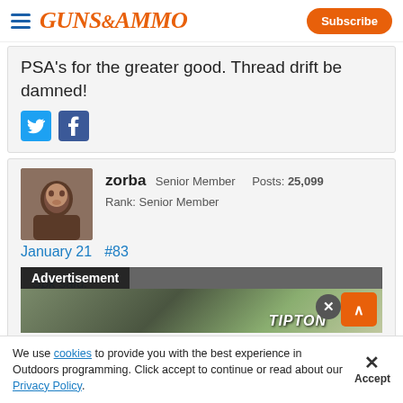GUNS&AMMO — Subscribe
PSA's for the greater good. Thread drift be damned!
zorba  Senior Member  Posts: 25,099
Rank: Senior Member
January 21  #83
Spk said:
Advertisement
We use cookies to provide you with the best experience in Outdoors programming. Click accept to continue or read about our Privacy Policy.